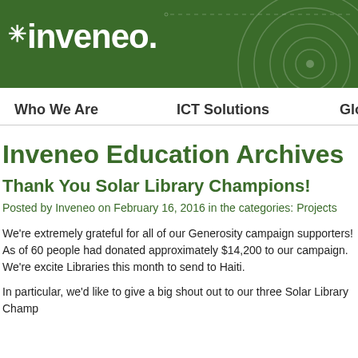[Figure (logo): Inveneo company logo: white stylized star/asterisk followed by 'inveneo.' in white bold text on green background with decorative concentric circle design on right side]
Who We Are   ICT Solutions   Glo
Inveneo Education Archives
Thank You Solar Library Champions!
Posted by Inveneo on February 16, 2016 in the categories: Projects
We're extremely grateful for all of our Generosity campaign supporters!  As of 60 people had donated approximately $14,200 to our campaign.  We're excite Libraries this month to send to Haiti.
In particular, we'd like to give a big shout out to our three Solar Library Champ